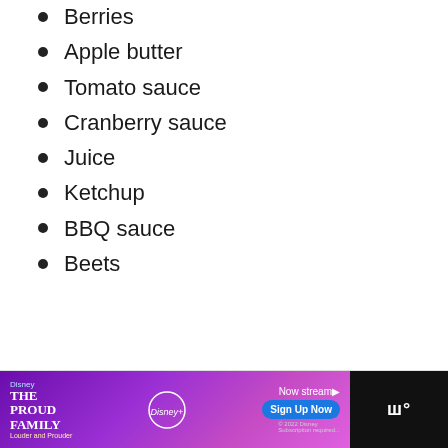Berries
Apple butter
Tomato sauce
Cranberry sauce
Juice
Ketchup
BBQ sauce
Beets
[Figure (illustration): Disney+ advertisement banner showing The Proud Family: Louder and Prouder with a character and Sign Up Now button]